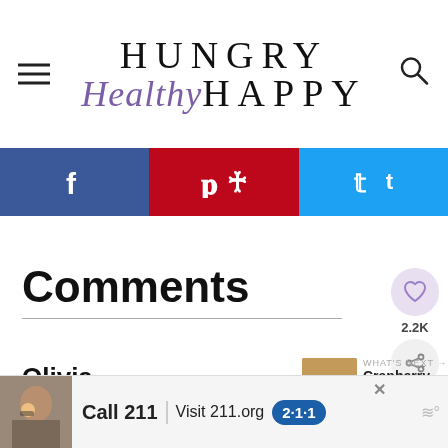Hungry Healthy Happy
[Figure (infographic): Social sharing bar with Facebook, Pinterest, and Twitter buttons]
Comments
Olivia
December 12, 2017 at 10:27
[Figure (infographic): What's Next panel showing Cranberry Bread with thumbnail image]
[Figure (infographic): Advertisement banner: Call 211 | Visit 211.org badge with photo of woman on phone]